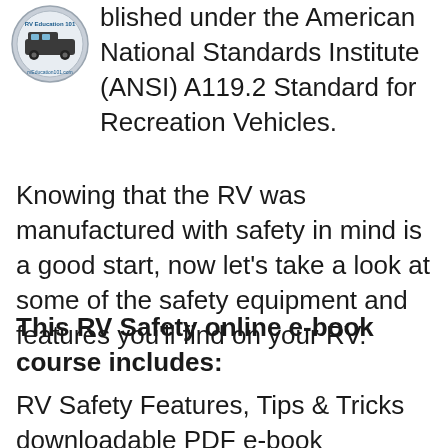[Figure (logo): RV Education 101 circular logo with RV image]
blished under the American National Standards Institute (ANSI) A119.2 Standard for Recreation Vehicles.
Knowing that the RV was manufactured with safety in mind is a good start, now let’s take a look at some of the safety equipment and features you’ll find on your RV.
This RV Safety online e-book course includes:
RV Safety Features, Tips & Tricks downloadable PDF e-book